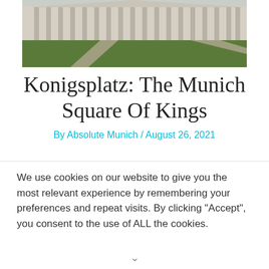[Figure (photo): Photograph of Konigsplatz, a neoclassical building with columns and green lawn with pathways in foreground]
Konigsplatz: The Munich Square Of Kings
By Absolute Munich / August 26, 2021
We use cookies on our website to give you the most relevant experience by remembering your preferences and repeat visits. By clicking “Accept”, you consent to the use of ALL the cookies.